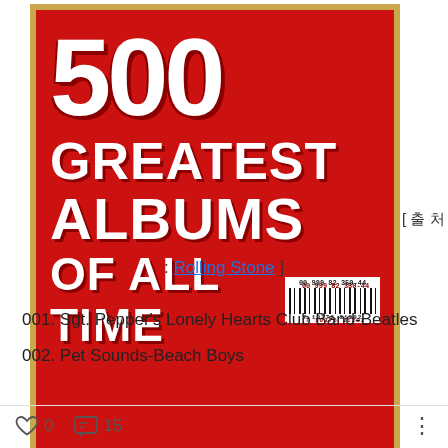[Figure (photo): Magazine cover of Rolling Stone '500 Greatest Albums of All Time' with red background and large white text, featuring a barcode]
[ 출 처 : Rolling Stone ]
001. Sgt. Pepper's Lonely Hearts Club Band-Beatles
002. Pet Sounds-Beach Boys
0  15